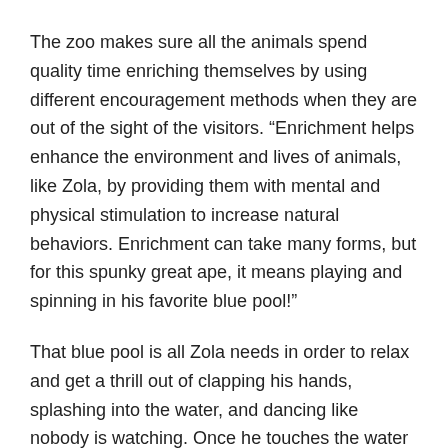The zoo makes sure all the animals spend quality time enriching themselves by using different encouragement methods when they are out of the sight of the visitors. “Enrichment helps enhance the environment and lives of animals, like Zola, by providing them with mental and physical stimulation to increase natural behaviors. Enrichment can take many forms, but for this spunky great ape, it means playing and spinning in his favorite blue pool!”
That blue pool is all Zola needs in order to relax and get a thrill out of clapping his hands, splashing into the water, and dancing like nobody is watching. Once he touches the water he goes into full Flashdance, or better said Splashdance mode letting the water splash all over his body.
Twirling into the pool during the hot summer days is the best way to recharge the batteries and regain the energy. He is